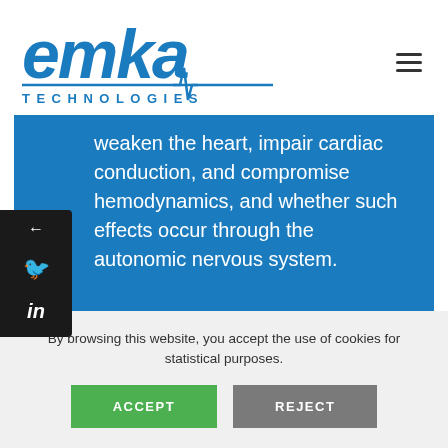[Figure (logo): emka TECHNOLOGIES logo in blue with ECG wave line]
weaken the heart, impair cardiac conduction, and compromise hemodynamics, and whether such effects occur through the autonomic nervous system.
Read full interview
By browsing this website, you accept the use of cookies for statistical purposes.
ACCEPT
REJECT